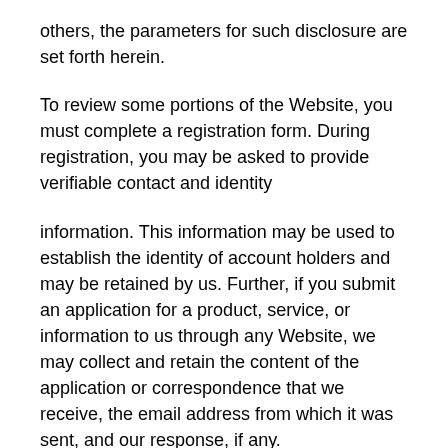others, the parameters for such disclosure are set forth herein.
To review some portions of the Website, you must complete a registration form. During registration, you may be asked to provide verifiable contact and identity
information. This information may be used to establish the identity of account holders and may be retained by us. Further, if you submit an application for a product, service, or information to us through any Website, we may collect and retain the content of the application or correspondence that we receive, the email address from which it was sent, and our response, if any.
Preferences and Opt-Out